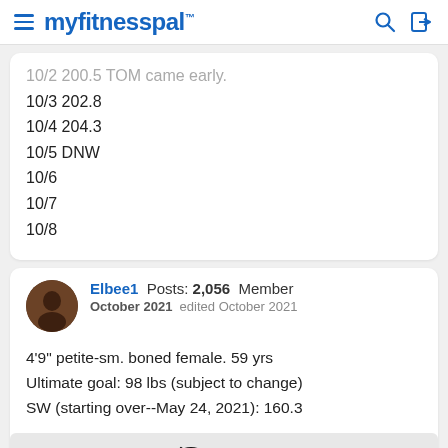myfitnesspal
10/2 200.5 TOM came early.
10/3 202.8
10/4 204.3
10/5 DNW
10/6
10/7
10/8
Elbee1  Posts: 2,056  Member
October 2021  edited October 2021
4'9" petite-sm. boned female. 59 yrs
Ultimate goal: 98 lbs (subject to change)
SW (starting over--May 24, 2021): 160.3
Spoiler